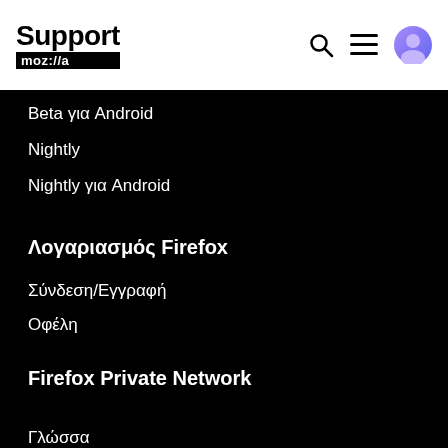Support moz://a
Beta για Android
Nightly
Nightly για Android
Λογαριασμός Firefox
Σύνδεση/Εγγραφή
Οφέλη
Firefox Private Network
Γλώσσα